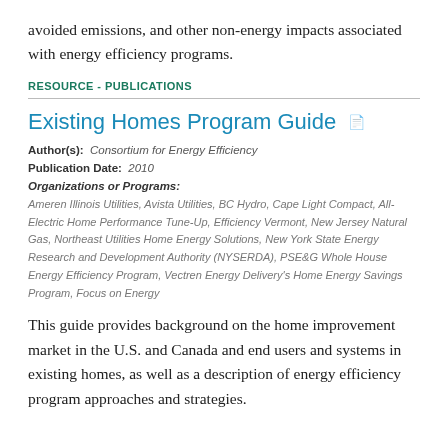avoided emissions, and other non-energy impacts associated with energy efficiency programs.
RESOURCE - PUBLICATIONS
Existing Homes Program Guide
Author(s): Consortium for Energy Efficiency
Publication Date: 2010
Organizations or Programs:
Ameren Illinois Utilities, Avista Utilities, BC Hydro, Cape Light Compact, All-Electric Home Performance Tune-Up, Efficiency Vermont, New Jersey Natural Gas, Northeast Utilities Home Energy Solutions, New York State Energy Research and Development Authority (NYSERDA), PSE&G Whole House Energy Efficiency Program, Vectren Energy Delivery's Home Energy Savings Program, Focus on Energy
This guide provides background on the home improvement market in the U.S. and Canada and end users and systems in existing homes, as well as a description of energy efficiency program approaches and strategies.